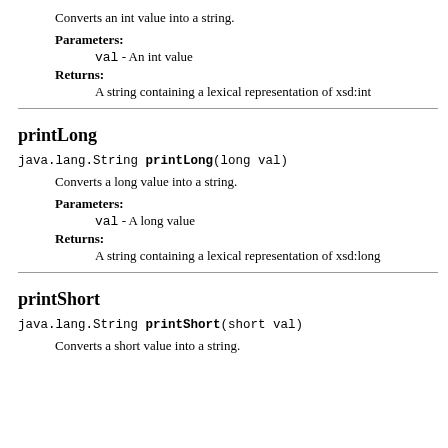Converts an int value into a string.
Parameters:
val - An int value
Returns:
A string containing a lexical representation of xsd:int
printLong
java.lang.String printLong(long val)
Converts a long value into a string.
Parameters:
val - A long value
Returns:
A string containing a lexical representation of xsd:long
printShort
java.lang.String printShort(short val)
Converts a short value into a string.